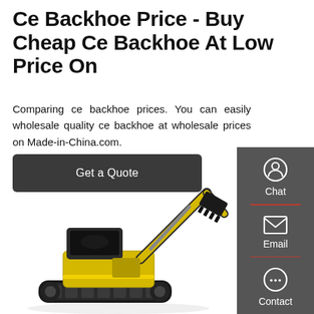Ce Backhoe Price - Buy Cheap Ce Backhoe At Low Price On
Comparing ce backhoe prices. You can easily wholesale quality ce backhoe at wholesale prices on Made-in-China.com.
Get a Quote
[Figure (screenshot): Sidebar panel with Chat, Email, and Contact buttons with icons on a dark grey background]
[Figure (photo): Yellow and black mini excavator/backhoe with arm raised and bucket attachment visible]